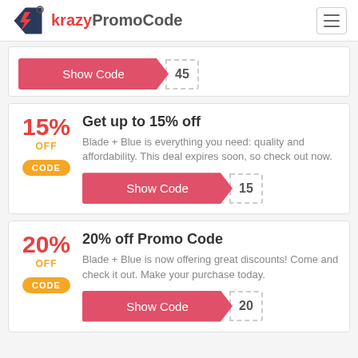krazyPromoCode
[Figure (screenshot): Show Code button with code stub showing '45']
15% OFF
Get up to 15% off
Blade + Blue is everything you need: quality and affordability. This deal expires soon, so check out now.
[Figure (screenshot): Show Code button with code stub showing '15']
20% OFF
20% off Promo Code
Blade + Blue is now offering great discounts! Come and check it out. Make your purchase today.
[Figure (screenshot): Show Code button with code stub showing '20']